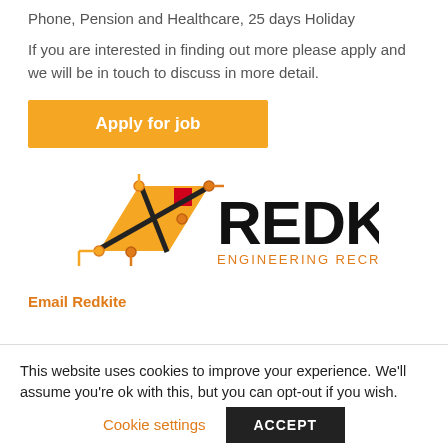Phone, Pension and Healthcare, 25 days Holiday
If you are interested in finding out more please apply and we will be in touch to discuss in more detail.
[Figure (other): Apply for job orange button]
[Figure (logo): Redkite Engineering Recruitment logo with circuit-board style kite icon in orange and red, company name in black bold letters, tagline ENGINEERING RECRUITMENT in orange]
Email Redkite
This website uses cookies to improve your experience. We'll assume you're ok with this, but you can opt-out if you wish.
Cookie settings
ACCEPT